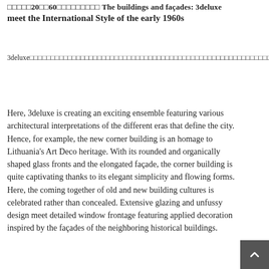□□□□□20□□60□□□□□□□□□ The buildings and façades: 3deluxe meet the International Style of the early 1960s
3deluxe□□□□□□□□□□□□□□□□□□□□□□□□□□□□□□□□□□□□□□□□□□□□□□□□□□□□□□□□□□□□□□□□□□□□□□□□□□□□□□□□□□□□□□□□□□□□□□□□□□□□□□□□□□□□□□□□□□□□□□□□□□□□□□□□□□□□□□□□□□□□□□□□□□□□□□□□□□□□□□□□□
Here, 3deluxe is creating an exciting ensemble featuring various architectural interpretations of the different eras that define the city. Hence, for example, the new corner building is an homage to Lithuania's Art Deco heritage. With its rounded and organically shaped glass fronts and the elongated façade, the corner building is quite captivating thanks to its elegant simplicity and flowing forms. Here, the coming together of old and new building cultures is celebrated rather than concealed. Extensive glazing and unfussy design meet detailed window frontage featuring applied decoration inspired by the façades of the neighboring historical buildings.